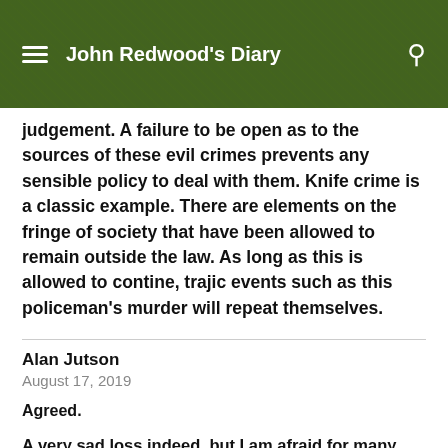John Redwood's Diary
judgement. A failure to be open as to the sources of these evil crimes prevents any sensible policy to deal with them. Knife crime is a classic example. There are elements on the fringe of society that have been allowed to remain outside the law. As long as this is allowed to contine, trajic events such as this policeman's murder will repeat themselves.
Alan Jutson
August 17, 2019
Agreed.
A very sad loss indeed, but I am afraid for many who simply ignore the law with impunity it will continue to happen and